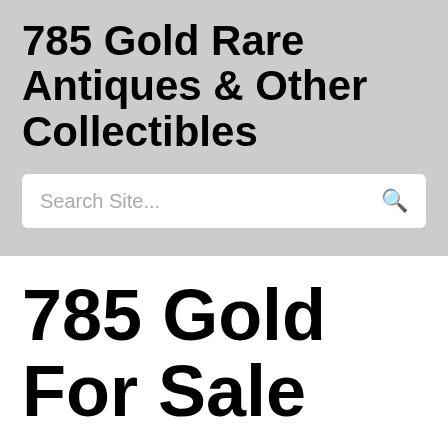785 Gold Rare Antiques & Other Collectibles
Search Site...
785 Gold For Sale